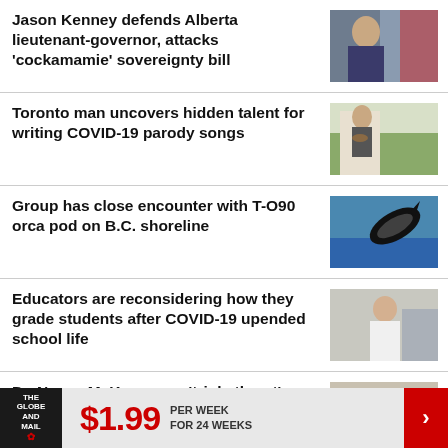Jason Kenney defends Alberta lieutenant-governor, attacks 'cockamamie' sovereignty bill
[Figure (photo): Photo of Jason Kenney speaking]
Toronto man uncovers hidden talent for writing COVID-19 parody songs
[Figure (photo): Photo of man playing guitar outdoors]
Group has close encounter with T-O90 orca pod on B.C. shoreline
[Figure (photo): Photo of orca leaping from water]
Educators are reconsidering how they grade students after COVID-19 upended school life
[Figure (photo): Photo of educator in classroom]
Dr. Nancy McKee was a 'triple threat' as a trailblazing plastic surgeon, teacher and researcher
[Figure (photo): Photo of Dr. Nancy McKee]
THE GLOBE AND MAIL | $1.99 PER WEEK FOR 24 WEEKS